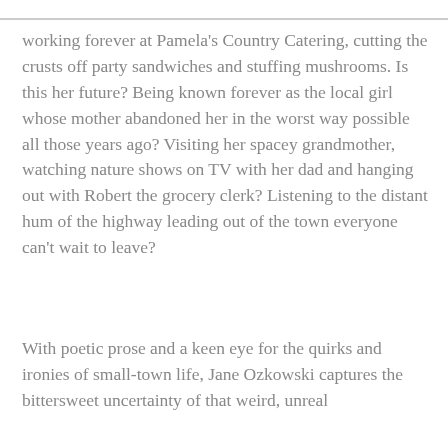working forever at Pamela's Country Catering, cutting the crusts off party sandwiches and stuffing mushrooms. Is this her future? Being known forever as the local girl whose mother abandoned her in the worst way possible all those years ago? Visiting her spacey grandmother, watching nature shows on TV with her dad and hanging out with Robert the grocery clerk? Listening to the distant hum of the highway leading out of the town everyone can't wait to leave?
With poetic prose and a keen eye for the quirks and ironies of small-town life, Jane Ozkowski captures the bittersweet uncertainty of that weird, unreal